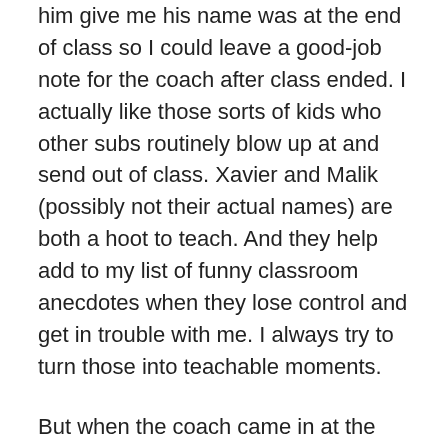him give me his name was at the end of class so I could leave a good-job note for the coach after class ended. I actually like those sorts of kids who other subs routinely blow up at and send out of class. Xavier and Malik (possibly not their actual names) are both a hoot to teach. And they help add to my list of funny classroom anecdotes when they lose control and get in trouble with me. I always try to turn those into teachable moments.
But when the coach came in at the end of his smartest class, saw everybody was done, and saw cartoons on his board, he got mad at them. I had to take the blame for them and explain why they were not simply blowing the assignment off and playing around. Coaches don't usually understand that classroom learning can be fun.
Thursday I was subbing for AVID classes again. These are special classes where at-risk kids are initially...